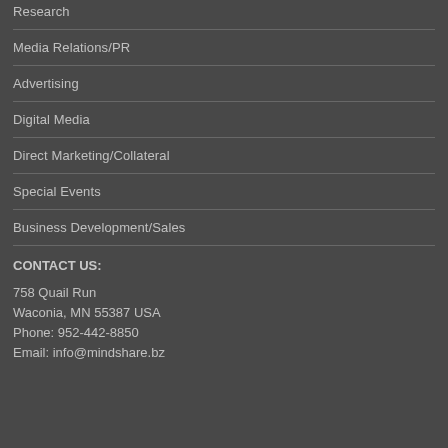Research
Media Relations/PR
Advertising
Digital Media
Direct Marketing/Collateral
Special Events
Business Development/Sales
CONTACT US:
758 Quail Run
Waconia, MN 55387 USA
Phone: 952-442-8850
Email: info@mindshare.bz